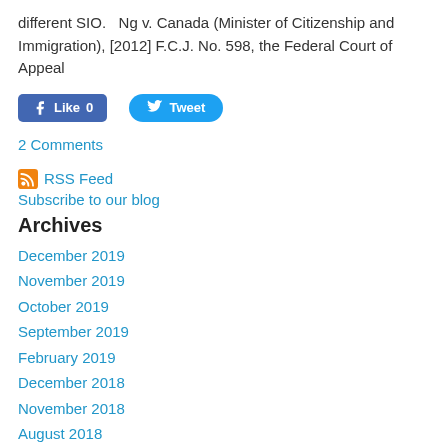different SIO.   Ng v. Canada (Minister of Citizenship and Immigration), [2012] F.C.J. No. 598, the Federal Court of Appeal
[Figure (other): Facebook Like button (0 likes) and Twitter Tweet button]
2 Comments
RSS Feed
Subscribe to our blog
Archives
December 2019
November 2019
October 2019
September 2019
February 2019
December 2018
November 2018
August 2018
July 2018
June 2018